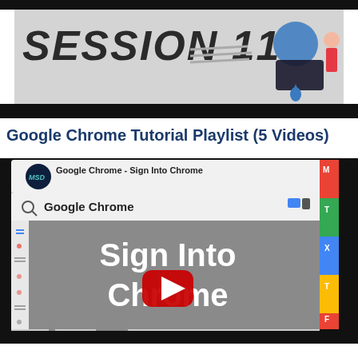[Figure (screenshot): Top portion of a video thumbnail showing 'SESSION 11' in bold italic text with speed lines and illustrated character, on a dark background bar]
Google Chrome Tutorial Playlist (5 Videos)
[Figure (screenshot): YouTube video thumbnail for 'Google Chrome - Sign Into Chrome' by MSD channel. Shows a browser-style interface with search bar showing 'Google Chrome', and large text 'Sign Into Chrome' on a grey background with a YouTube play button in the center. Right side has a colored scrollbar with red, green, blue, yellow stripes and letter markers M, T, X, T, F.]